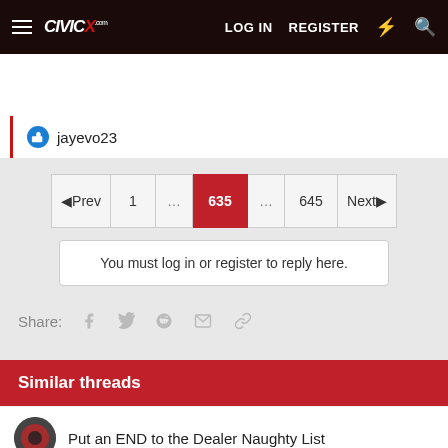CivicX.com — LOG IN  REGISTER
jayevo23
◄Prev  1  ...  635  ...  645  Next►
You must log in or register to reply here.
Share:
Similar threads
Put an END to the Dealer Naughty List